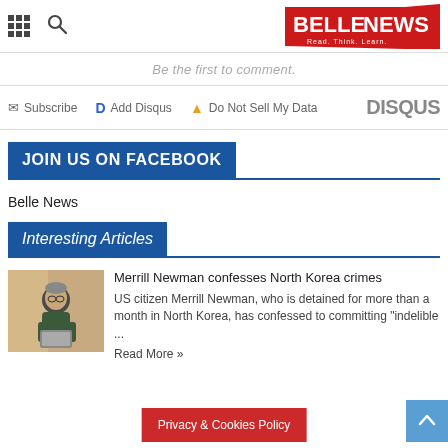BELLENEWS
Be the first to comment.
Subscribe   Add Disqus   Do Not Sell My Data   DISQUS
JOIN US ON FACEBOOK
Belle News
Interesting Articles
[Figure (photo): Photo of Merrill Newman, an elderly man sitting with a laptop]
Merrill Newman confesses North Korea crimes
US citizen Merrill Newman, who is detained for more than a month in North Korea, has confessed to committing "indelible ...
Read More »
Privacy & Cookies Policy